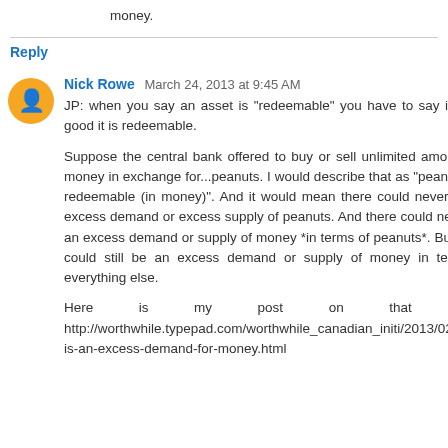money.
Reply
Nick Rowe March 24, 2013 at 9:45 AM
JP: when you say an asset is "redeemable" you have to say in what good it is redeemable.
Suppose the central bank offered to buy or sell unlimited amounts of money in exchange for...peanuts. I would describe that as "peanuts are redeemable (in money)". And it would mean there could never be an excess demand or excess supply of peanuts. And there could never be an excess demand or supply of money *in terms of peanuts*. But there could still be an excess demand or supply of money in terms of everything else.
Here is my post on that topic: http://worthwhile.typepad.com/worthwhile_canadian_initi/2013/02/what-is-an-excess-demand-for-money.html